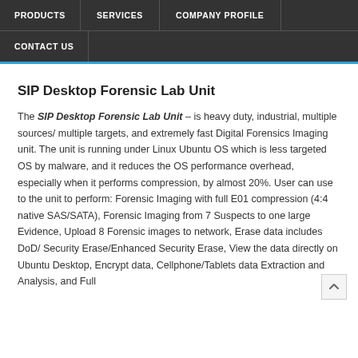PRODUCTS | SERVICES | COMPANY PROFILE | CONTACT US
SIP Desktop Forensic Lab Unit
The SIP Desktop Forensic Lab Unit – is heavy duty, industrial, multiple sources/ multiple targets, and extremely fast Digital Forensics Imaging unit. The unit is running under Linux Ubuntu OS which is less targeted OS by malware, and it reduces the OS performance overhead, especially when it performs compression, by almost 20%. User can use to the unit to perform: Forensic Imaging with full E01 compression (4:4 native SAS/SATA), Forensic Imaging from 7 Suspects to one large Evidence, Upload 8 Forensic images to network, Erase data includes DoD/ Security Erase/Enhanced Security Erase, View the data directly on Ubuntu Desktop, Encrypt data, Cellphone/Tablets data Extraction and Analysis, and Full